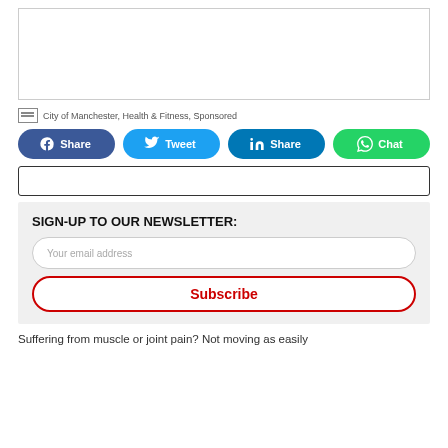[Figure (other): Empty white image placeholder box with border]
City of Manchester, Health & Fitness, Sponsored
[Figure (infographic): Social share buttons: Facebook Share, Twitter Tweet, LinkedIn Share, WhatsApp Chat]
[Figure (other): Empty search bar with border]
SIGN-UP TO OUR NEWSLETTER:
Your email address
Subscribe
Suffering from muscle or joint pain? Not moving as easily as you used to?